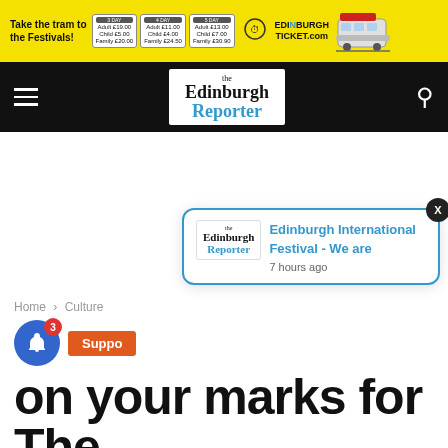[Figure (screenshot): Edinburgh Trams festival ticket banner advertisement in yellow with pricing tiers (3-day, 4-day, 5-day) and Edinburgh Ticket.com branding with tram illustration]
the Edinburgh Reporter
Home › Culture
Suppo...
on your marks for The
[Figure (screenshot): Notification popup showing Edinburgh Reporter logo with text 'Edinburgh International Festival - We are' and '7 hours ago']